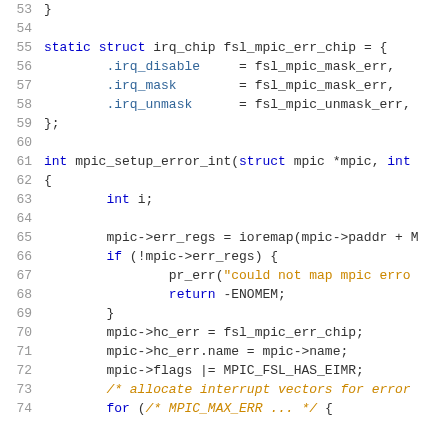[Figure (screenshot): Source code listing showing C code for fsl_mpic_err_chip structure and mpic_setup_error_int function, lines 53-74, with syntax highlighting (keywords in blue, strings in orange/green, comments in green)]